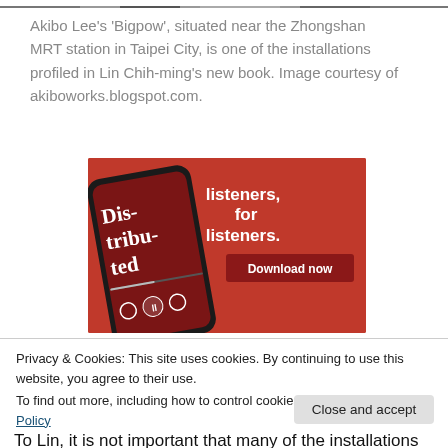[Figure (photo): Partial photo strip at top of page showing people/art installation]
Akibo Lee's 'Bigpow', situated near the Zhongshan MRT station in Taipei City, is one of the installations profiled in Lin Chih-ming's new book. Image courtesy of akiboworks.blogspot.com.
[Figure (screenshot): Advertisement with red background showing a smartphone displaying a podcast app with text 'Dis-trib-uted'. Right side reads 'listeners, for listeners.' with a 'Download now' button.]
Privacy & Cookies: This site uses cookies. By continuing to use this website, you agree to their use.
To find out more, including how to control cookies, see here: Cookie Policy
Close and accept
To Lin, it is not important that many of the installations he